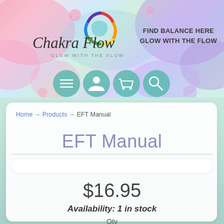[Figure (logo): Chakra Flow logo with rainbow swirl and text 'Chakra Flow / GLOW WITH THE FLOW']
FIND BALANCE HERE
GLOW WITH THE FLOW
[Figure (infographic): Four teal circular navigation icons: hamburger menu, person/account, shopping cart, magnifying glass/search]
Home → Products → EFT Manual
EFT Manual
$16.95
Availability: 1 in stock
Qty